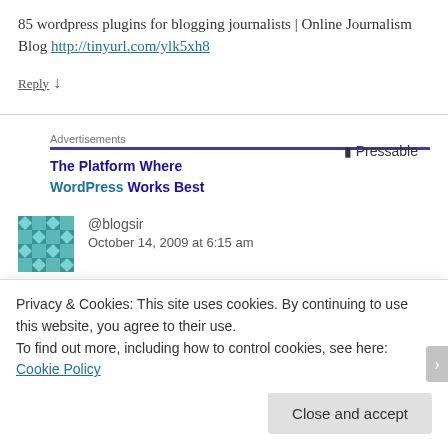85 wordpress plugins for blogging journalists | Online Journalism Blog http://tinyurl.com/ylk5xh8
Reply ↓
Advertisements
[Figure (other): Advertisement banner: The Platform Where WordPress Works Best — Pressable]
@blogsir
October 14, 2009 at 6:15 am
Privacy & Cookies: This site uses cookies. By continuing to use this website, you agree to their use.
To find out more, including how to control cookies, see here: Cookie Policy